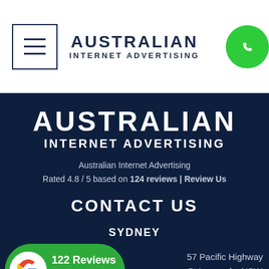AUSTRALIAN INTERNET ADVERTISING
AUSTRALIAN INTERNET ADVERTISING
Australian Internet Advertising
Rated 4.8 / 5 based on 124 reviews | Review Us
CONTACT US
SYDNEY
[Figure (logo): Google Reviews badge showing 122 Reviews with 4.8 star rating in green rounded rectangle]
57 Pacific Highway
St Leonards, NSW